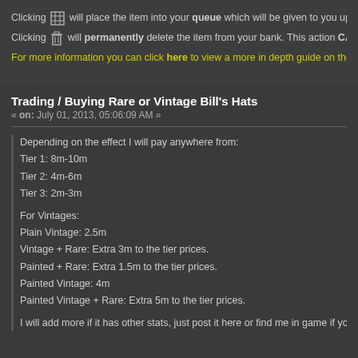Clicking [grid icon] will place the item into your queue which will be given to you upon r...
Clicking [trash icon] will permanently delete the item from your bank. This action CANN...
For more information you can click here to view a more in depth guide on the wi...
Trading / Buying Rare or Vintage Bill's Hats
« on: July 01, 2013, 05:06:09 AM »
Depending on the effect I will pay anywhere from:
Tier 1: 8m-10m
Tier 2: 4m-6m
Tier 3: 2m-3m

For Vintages:
Plain Vintage: 2.5m
Vintage + Rare: Extra 3m to the tier prices.
Painted + Rare: Extra 1.5m to the tier prices.
Painted Vintage: 4m
Painted Vintage + Rare: Extra 5m to the tier prices.

I will add more if it has other stats, just post it here or find me in game if you wan...